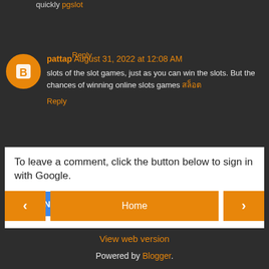quickly pgslot
Reply
pattap August 31, 2022 at 12:08 AM
slots of the slot games, just as you can win the slots. But the chances of winning online slots games สล็อต
Reply
To leave a comment, click the button below to sign in with Google.
SIGN IN WITH GOOGLE
‹
Home
›
View web version
Powered by Blogger.